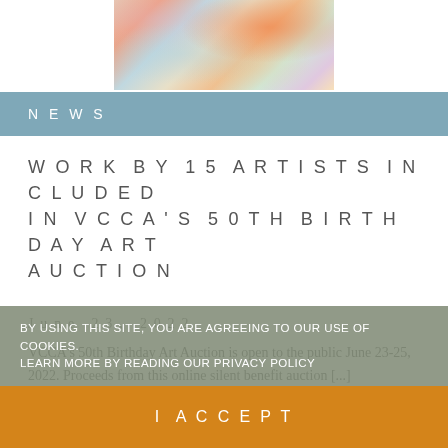[Figure (photo): Colorful abstract painting with orange, teal, pink, and yellow brushstrokes on a light background]
NEWS
WORK BY 15 ARTISTS INCLUDED IN VCCA'S 50TH BIRTHDAY ART AUCTION
June 23, 2022
VCCA's 50th Birthday Art Auction is open to the public June 23-25, 2022. Proceeds from this online silent benefit auction [...]
BY USING THIS SITE, YOU ARE AGREEING TO OUR USE OF COOKIES. LEARN MORE BY READING OUR PRIVACY POLICY
I ACCEPT